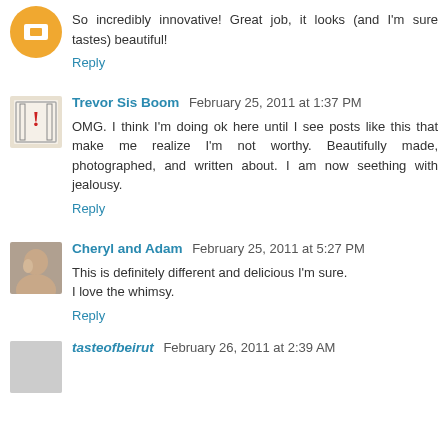So incredibly innovative! Great job, it looks (and I'm sure tastes) beautiful!
Reply
Trevor Sis Boom  February 25, 2011 at 1:37 PM
OMG. I think I'm doing ok here until I see posts like this that make me realize I'm not worthy. Beautifully made, photographed, and written about. I am now seething with jealousy.
Reply
Cheryl and Adam  February 25, 2011 at 5:27 PM
This is definitely different and delicious I'm sure.
I love the whimsy.
Reply
tasteofbeirut  February 26, 2011 at 2:39 AM